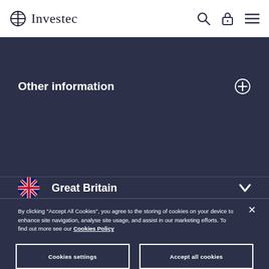Investec
Other information
Great Britain
By clicking "Accept All Cookies", you agree to the storing of cookies on your device to enhance site navigation, analyse site usage, and assist in our marketing efforts. To find out more see our Cookies Policy
Cookies settings
Accept all cookies